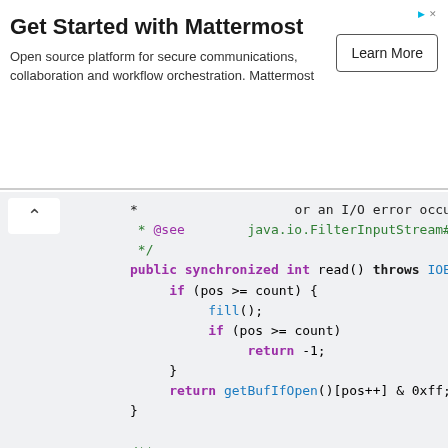[Figure (screenshot): Advertisement banner for Mattermost: 'Get Started with Mattermost' with description 'Open source platform for secure communications, collaboration and workflow orchestration. Mattermost' and a 'Learn More' button]
* or an I/O error occu
 * @see      java.io.FilterInputStream#in
 */
public synchronized int read() throws IOExceptio
    if (pos >= count) {
        fill();
        if (pos >= count)
            return -1;
    }
    return getBufIfOpen()[pos++] & 0xff;
}

/**
 * Read characters into a portion of an array, r
 * stream at most once if necessary.
 */
private int read1(byte[] b, int off, int len) th
    int avail = count - pos;
    if (avail <= 0) {